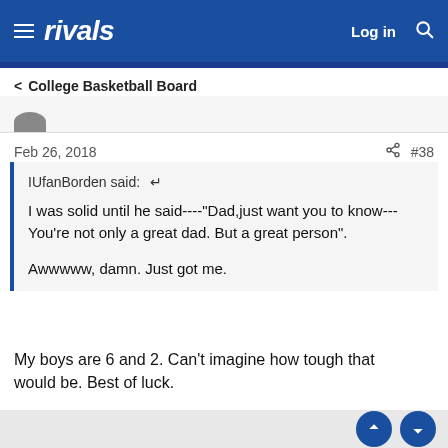rivals — Log in
< College Basketball Board
Feb 26, 2018   #38
IUfanBorden said: ↩

I was solid until he said----"Dad,just want you to know---You're not only a great dad. But a great person".

Awwwww, damn. Just got me.
My boys are 6 and 2. Can't imagine how tough that would be. Best of luck.